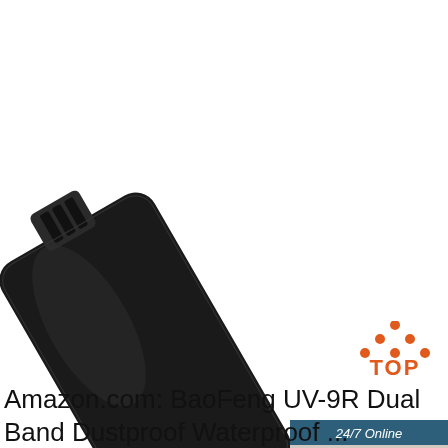[Figure (photo): A black BaoFeng UV-9R battery pack shown at an angle on white background]
[Figure (illustration): 24/7 Online chat widget with photo of woman wearing headset, 'Click here for free chat!' text, and orange QUOTATION button]
[Figure (logo): TOP logo with orange dotted triangle above orange TOP text]
Amazon.com: BaoFeng UV-9R Dual Band Dustproof Waterproof ...